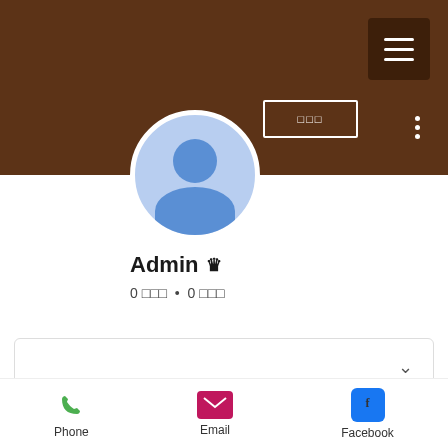[Figure (screenshot): Mobile app profile header with brown banner background, hamburger menu button (dark brown), dropdown box outline with placeholder text, and three-dot menu icon]
[Figure (illustration): User avatar: round circle with light blue background showing generic person silhouette in blue]
Admin 👑
0 □□□ • 0 □□□
[Figure (screenshot): Dropdown/selector UI element with chevron down arrow on right side]
Admin
2020□ 5□ 10□
□□ □□□□□ □□/ □□ □□□□□□□ /□□□□□□□□□□□
In □□□/□□□□□□/□□□□
[Figure (infographic): Bottom navigation bar with Phone (green phone icon), Email (pink envelope icon), Facebook (blue Facebook icon) options]